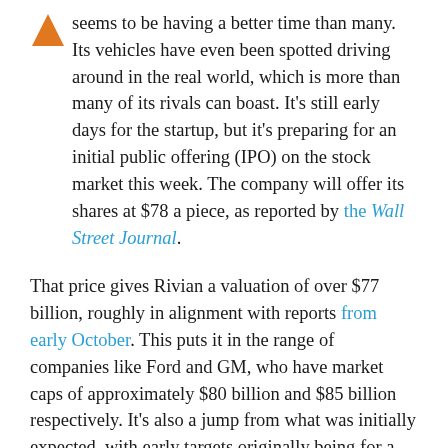seems to be having a better time than many. Its vehicles have even been spotted driving around in the real world, which is more than many of its rivals can boast. It's still early days for the startup, but it's preparing for an initial public offering (IPO) on the stock market this week. The company will offer its shares at $78 a piece, as reported by the Wall Street Journal.
That price gives Rivian a valuation of over $77 billion, roughly in alignment with reports from early October. This puts it in the range of companies like Ford and GM, who have market caps of approximately $80 billion and $85 billion respectively. It's also a jump from what was initially expected, with early targets originally being for a price of $57-62 a share.